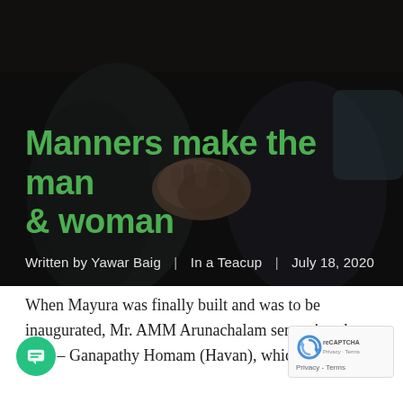[Figure (photo): Dark photo of two people sitting side by side, their hands and laps visible, hands clasped together in the center, dark moody background]
Manners make the man & woman
Written by Yawar Baig  |  In a Teacup  |  July 18, 2020
When Mayura was finally built and was to be inaugurated, Mr. AMM Arunachalam sent pri to do a puja – Ganapathy Homam (Havan), which